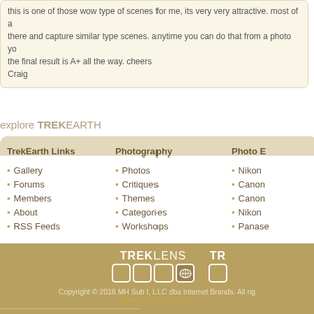this is one of those wow type of scenes for me, its very very attractive. most of a there and capture similar type scenes. anytime you can do that from a photo yo the final result is A+ all the way. cheers
Craig
explore TREKEARTH
Gallery
Forums
Members
About
RSS Feeds
Photos
Critiques
Themes
Categories
Workshops
Nikon
Canon
Canon
Nikon
Panase
[Figure (logo): TrekLens logo with white text and squares]
[Figure (logo): TR logo (partial)]
Copyright © 2018 MH Sub I, LLC dba Internet Brands. All rig Advertise | Privacy Po